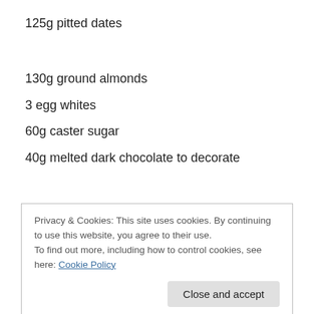125g pitted dates
130g ground almonds
3 egg whites
60g caster sugar
40g melted dark chocolate to decorate
Privacy & Cookies: This site uses cookies. By continuing to use this website, you agree to their use.
To find out more, including how to control cookies, see here: Cookie Policy